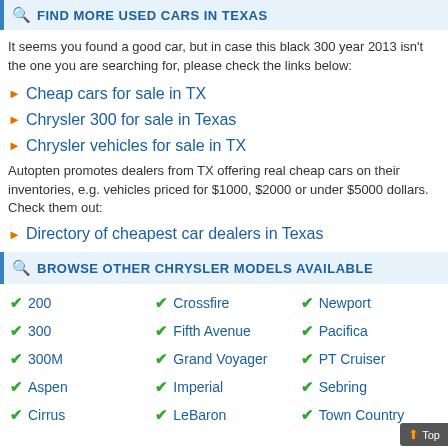FIND MORE USED CARS IN TEXAS
It seems you found a good car, but in case this black 300 year 2013 isn't the one you are searching for, please check the links below:
Cheap cars for sale in TX
Chrysler 300 for sale in Texas
Chrysler vehicles for sale in TX
Autopten promotes dealers from TX offering real cheap cars on their inventories, e.g. vehicles priced for $1000, $2000 or under $5000 dollars. Check them out:
Directory of cheapest car dealers in Texas
BROWSE OTHER CHRYSLER MODELS AVAILABLE
200
Crossfire
Newport
300
Fifth Avenue
Pacifica
300M
Grand Voyager
PT Cruiser
Aspen
Imperial
Sebring
Cirrus
LeBaron
Town Country